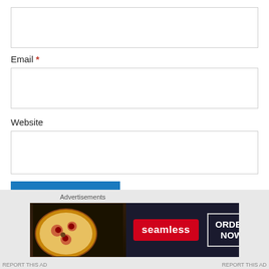[Figure (screenshot): Empty text input box at top of form]
Email *
[Figure (screenshot): Email input box]
Website
[Figure (screenshot): Website input box]
Post Comment
Notify me of new comments via email.
Advertisements
[Figure (screenshot): Seamless pizza advertisement banner with ORDER NOW call to action]